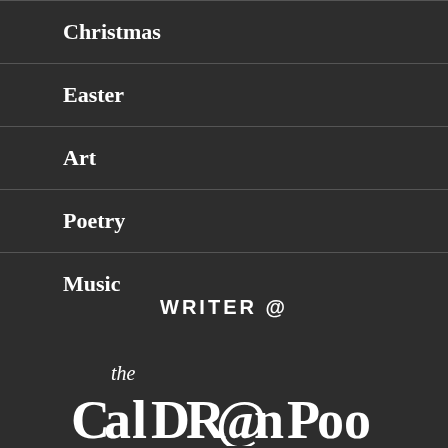Christmas
Easter
Art
Poetry
Music
WRITER @
[Figure (logo): The Caldron Pool logo — stylized text reading 'the CaLDRonPool' in white on dark background, with decorative lettering and an '@' symbol integrated into the word 'Caldron']